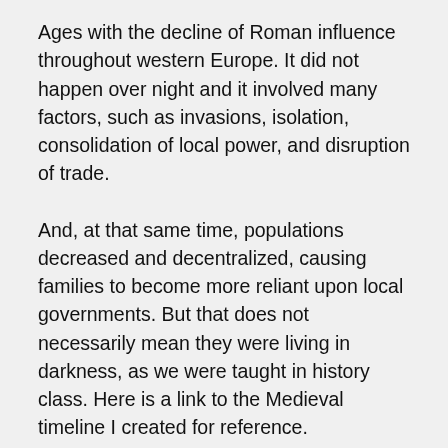Ages with the decline of Roman influence throughout western Europe. It did not happen over night and it involved many factors, such as invasions, isolation, consolidation of local power, and disruption of trade.
And, at that same time, populations decreased and decentralized, causing families to become more reliant upon local governments. But that does not necessarily mean they were living in darkness, as we were taught in history class. Here is a link to the Medieval timeline I created for reference.
A quick example of how preconceived notions of the Middle Ages are changing takes me back to 2005-6 when I engaged in several conversations with the